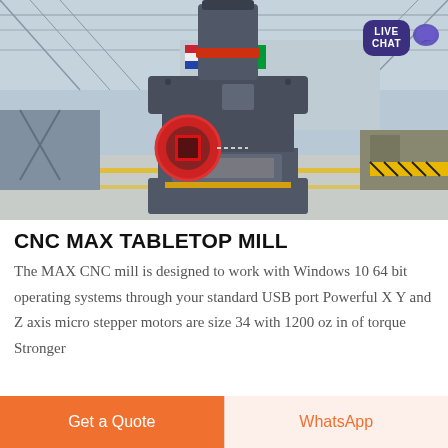[Figure (photo): Industrial CNC Max Tabletop Mill machine standing on a factory floor inside a large warehouse/hangar with flags and industrial equipment in the background. The machine is a tall dark grey vertical mill with a red-ringed cylindrical top and a red square inlet opening. A 'LIVE CHAT' bubble is overlaid in the top-right corner.]
CNC MAX TABLETOP MILL
The MAX CNC mill is designed to work with Windows 10 64 bit operating systems through your standard USB port Powerful X Y and Z axis micro stepper motors are size 34 with 1200 oz in of torque Stronger